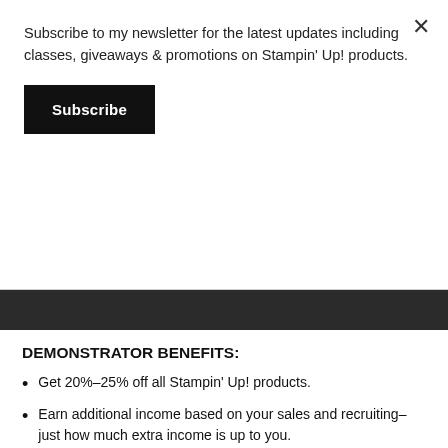Subscribe to my newsletter for the latest updates including classes, giveaways & promotions on Stampin' Up! products.
Subscribe
Click the logo to JOIN THE FUN!
DEMONSTRATOR BENEFITS:
Get 20%–25% off all Stampin' Up! products.
Earn additional income based on your sales and recruiting–just how much extra income is up to you.
Set your own schedule and put in as much (or as little) time as you'd like.
Get support through online training resources, a